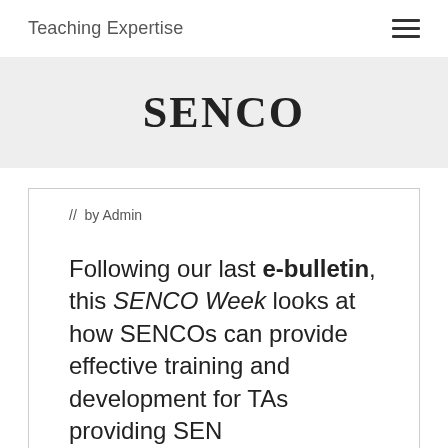Teaching Expertise
SENCO
// by Admin
Following our last e-bulletin, this SENCO Week looks at how SENCOs can provide effective training and development for TAs providing SEN support and how their role has changed...